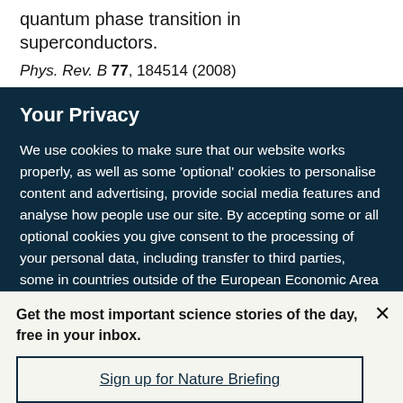quantum phase transition in superconductors.
Phys. Rev. B 77, 184514 (2008)
Your Privacy
We use cookies to make sure that our website works properly, as well as some 'optional' cookies to personalise content and advertising, provide social media features and analyse how people use our site. By accepting some or all optional cookies you give consent to the processing of your personal data, including transfer to third parties, some in countries outside of the European Economic Area that do not offer the same data protection standards as the country where you live. You can decide which optional cookies to accept by clicking on 'Manage Settings', where you can
Get the most important science stories of the day, free in your inbox.
Sign up for Nature Briefing